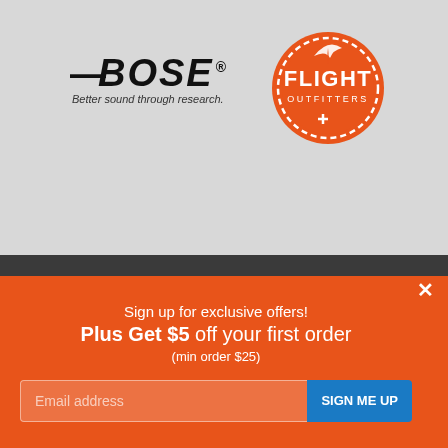[Figure (logo): Bose logo with tagline 'Better sound through research.']
[Figure (logo): Flight Outfitters circular orange logo]
+ Information
Sign up for exclusive offers!
Plus Get $5 off your first order
(min order $25)
Email address  SIGN ME UP